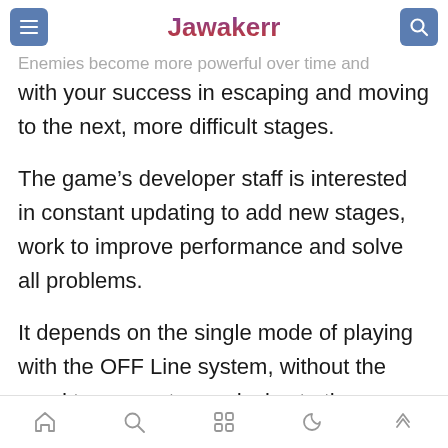Jawakerr
Enemies become more powerful over time and with your success in escaping and moving to the next, more difficult stages.
The game's developer staff is interested in constant updating to add new stages, work to improve performance and solve all problems.
It depends on the single mode of playing with the OFF Line system, without the need to connect your device to the Internet.
Navigation icons: home, search, grid, moon, up-arrow